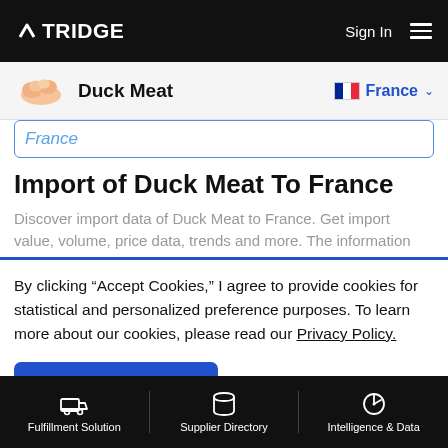TRIDGE   Sign In
[Figure (screenshot): Duck Meat product icon with France flag country selector]
France
Import of Duck Meat To France
Discover import data of Duck Meat to France. Get import value, volume, price data, trends and more. The information
By clicking “Accept Cookies,” I agree to provide cookies for statistical and personalized preference purposes. To learn more about our cookies, please read our Privacy Policy.
Accept Cookies
Fulfillment Solution   Supplier Directory   Intelligence & Data